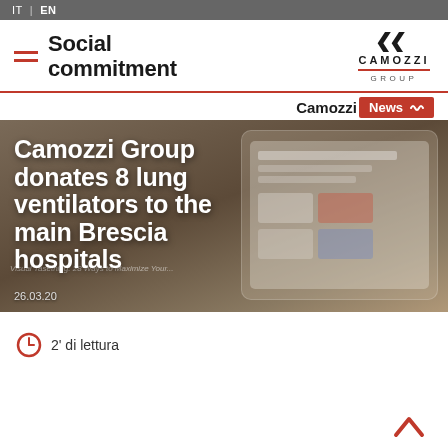IT | EN
Social commitment
[Figure (logo): Camozzi Group logo with double-arrow CC icon, company name, and red underline]
[Figure (other): Camozzi News badge with red background]
[Figure (photo): Blurred background photo of a tablet showing task management content, with hero headline overlay: Camozzi Group donates 8 lung ventilators to the main Brescia hospitals, dated 26.03.20]
Camozzi Group donates 8 lung ventilators to the main Brescia hospitals
26.03.20
2' di lettura